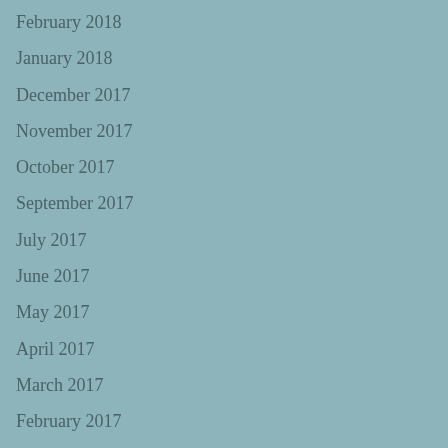February 2018
January 2018
December 2017
November 2017
October 2017
September 2017
July 2017
June 2017
May 2017
April 2017
March 2017
February 2017